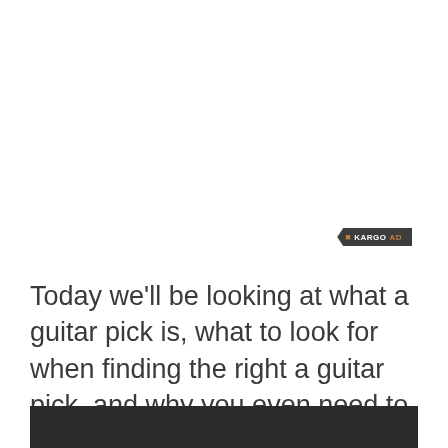[Figure (logo): Kargo AD badge label in dark gray with orange bullet and orange AD text]
Today we'll be looking at what a guitar pick is, what to look for when finding the right a guitar pick, and why you even need to use one.
[Figure (other): Dark gray/black bar at bottom of page]